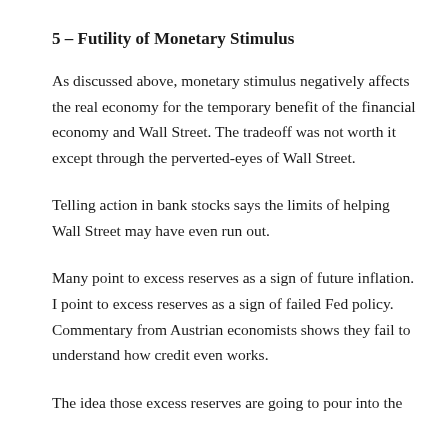5 – Futility of Monetary Stimulus
As discussed above, monetary stimulus negatively affects the real economy for the temporary benefit of the financial economy and Wall Street. The tradeoff was not worth it except through the perverted-eyes of Wall Street.
Telling action in bank stocks says the limits of helping Wall Street may have even run out.
Many point to excess reserves as a sign of future inflation. I point to excess reserves as a sign of failed Fed policy. Commentary from Austrian economists shows they fail to understand how credit even works.
The idea those excess reserves are going to pour into the